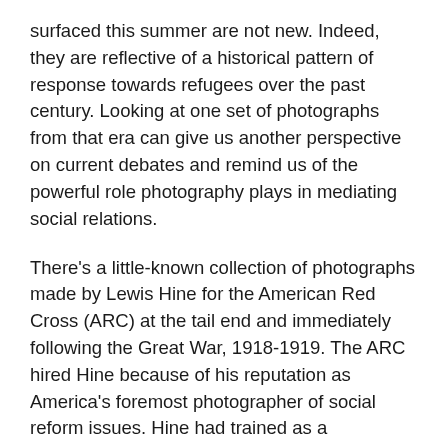surfaced this summer are not new. Indeed, they are reflective of a historical pattern of response towards refugees over the past century. Looking at one set of photographs from that era can give us another perspective on current debates and remind us of the powerful role photography plays in mediating social relations.
There's a little-known collection of photographs made by Lewis Hine for the American Red Cross (ARC) at the tail end and immediately following the Great War, 1918-1919. The ARC hired Hine because of his reputation as America's foremost photographer of social reform issues. Hine had trained as a sociologist and an educator. He was not a journalist, but rather a social reformer whose main medium of advocacy was the camera. By the mid-1910's, Hine had developed the reputation as "the most extensive and successful photographer of social welfare work in [America]" [3]. During the First World